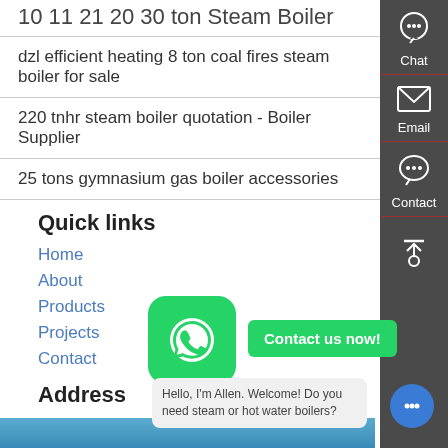10 11 21 20 30 ton Steam Boiler
dzl efficient heating 8 ton coal fires steam boiler for sale
220 tnhr steam boiler quotation - Boiler Supplier
25 tons gymnasium gas boiler accessories
Quick links
Home
About
Products
Projects
Contact
Address
London Victoria 3000
Gaoxinqu Area, Zhengzhou
Henan China
Telephone :0086-371-60922096
Email : price@boilermanufactory.com
Products
Hello, I'm Allen. Welcome! Do you need steam or hot water boilers?